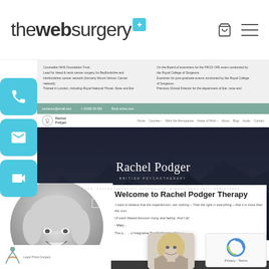thewebsurgery+
[Figure (screenshot): Screenshot of a medical website with text columns and a green navigation bar]
[Figure (screenshot): Rachel Podger therapy website hero section with mountain background, name title, subtitle 'COUNSELLOR, PSYCHOTHERAPIST, SUPERVISOR, MINDFULNESS (MCI) REGISTERED', and two CTA buttons]
[Figure (photo): Black and white circular portrait photo of a smiling woman with blonde hair]
Welcome to Rachel Podger Therapy
'I want to believe that the imperfections are nothing – That the right is everything – that it is more than the sum.

Of each flawed blossom rising and fading. And I do'
- Mary...
[Figure (photo): Small popup showing a woman with blonde hair, headshot chat avatar]
[Figure (other): reCAPTCHA widget]
Home   About   Services   News   Contact